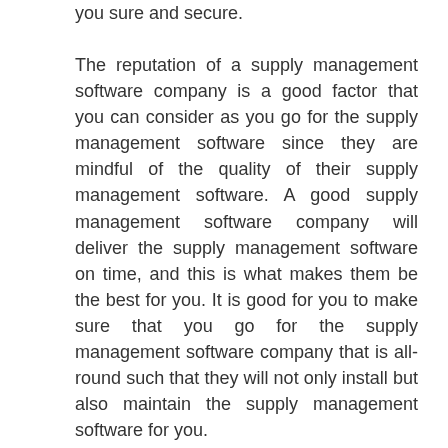you sure and secure.
The reputation of a supply management software company is a good factor that you can consider as you go for the supply management software since they are mindful of the quality of their supply management software. A good supply management software company will deliver the supply management software on time, and this is what makes them be the best for you. It is good for you to make sure that you go for the supply management software company that is all-round such that they will not only install but also maintain the supply management software for you.